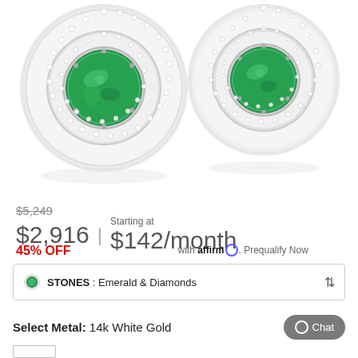[Figure (photo): Two emerald and diamond halo stud earrings with double row of diamonds surrounding a central round emerald gemstone, on white background]
$5,249
$2,916  |  $142/month
45% OFF
Starting at
with affirm. Prequalify Now
STONES : Emerald & Diamonds
Select Metal: 14k White Gold